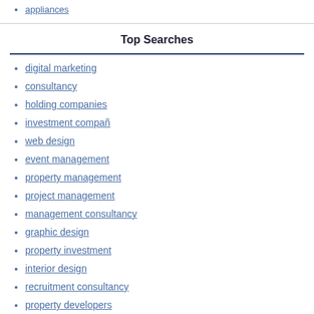appliances
Top Searches
digital marketing
consultancy
holding companies
investment compañ
web design
event management
property management
project management
management consultancy
graphic design
property investment
interior design
recruitment consultancy
property developers